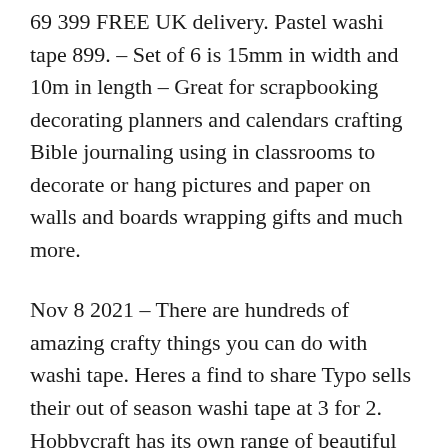69 399 FREE UK delivery. Pastel washi tape 899. – Set of 6 is 15mm in width and 10m in length – Great for scrapbooking decorating planners and calendars crafting Bible journaling using in classrooms to decorate or hang pictures and paper on walls and boards wrapping gifts and much more.
Nov 8 2021 – There are hundreds of amazing crafty things you can do with washi tape. Heres a find to share Typo sells their out of season washi tape at 3 for 2. Hobbycraft has its own range of beautiful tapes in-store and online called.